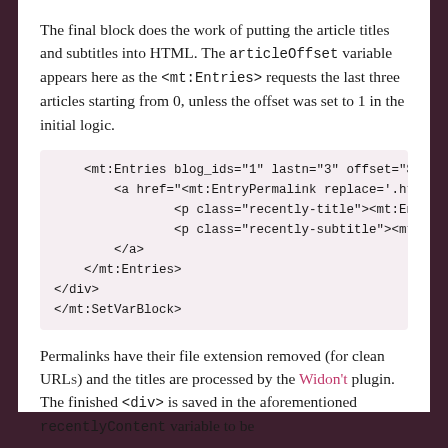The final block does the work of putting the article titles and subtitles into HTML. The articleOffset variable appears here as the <mt:Entries> requests the last three articles starting from 0, unless the offset was set to 1 in the initial logic.
[Figure (screenshot): Code block showing mt:Entries template tag with blog_ids, lastn, offset attributes and nested anchor, paragraph tags for recently-title and recently-subtitle, closing tags for a, mt:Entries, div, and mt:SetVarBlock]
Permalinks have their file extension removed (for clean URLs) and the titles are processed by the Widon't plugin. The finished <div> is saved in the aforementioned recentlyContent variable to be